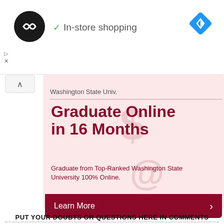[Figure (screenshot): In-store shopping UI with black circular logo showing infinity/code symbol, green checkmark, and blue navigation diamond icon]
[Figure (screenshot): Washington State University advertisement banner on pink background: Graduate Online in 16 Months, with Learn More button]
PUT YOUR DOUBTS OR QUESTIONS HERE IN COMMENTS